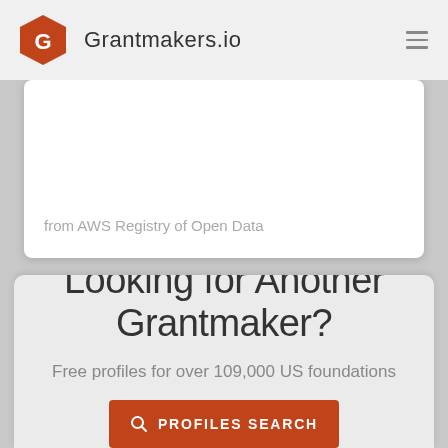Grantmakers.io
from AWS Registry of Open Data
Looking for Another Grantmaker?
Free profiles for over 109,000 US foundations
PROFILES SEARCH